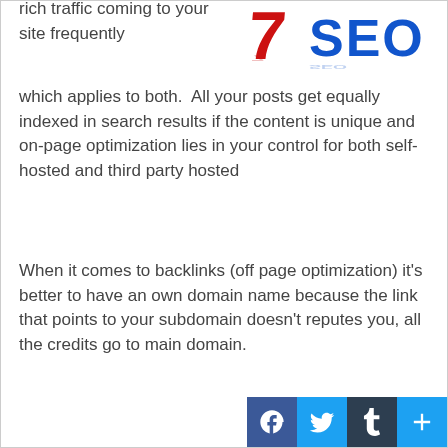[Figure (illustration): 3D red number 7 and blue SEO text with reflections on white background]
rich traffic coming to your site frequently which applies to both.  All your posts get equally indexed in search results if the content is unique and on-page optimization lies in your control for both self-hosted and third party hosted
When it comes to backlinks (off page optimization) it's better to have an own domain name because the link that points to your subdomain doesn't reputes you, all the credits go to main domain.
[Figure (other): Social media sharing buttons: Facebook, Twitter, Tumblr, and a plus/share button]